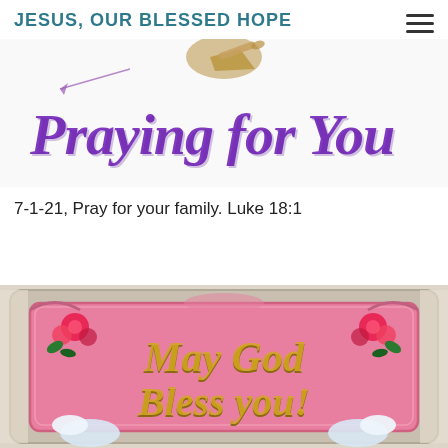JESUS, OUR BLESSED HOPE
[Figure (illustration): Praying for You banner with angel blowing trumpet and purple cursive script text]
7-1-21, Pray for your family. Luke 18:1
[Figure (illustration): May God Bless You decorative image with pink background, flowers, doves, and gold script text]